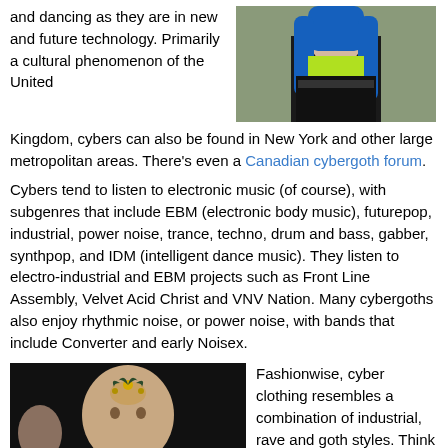and dancing as they are in new and future technology. Primarily a cultural phenomenon of the United Kingdom, cybers can also be found in New York and other large metropolitan areas. There's even a Canadian cybergoth forum.
[Figure (photo): Photo of a person with long blue hair wearing black clothing]
Cybers tend to listen to electronic music (of course), with subgenres that include EBM (electronic body music), futurepop, industrial, power noise, trance, techno, drum and bass, gabber, synthpop, and IDM (intelligent dance music). They listen to electro-industrial and EBM projects such as Front Line Assembly, Velvet Acid Christ and VNV Nation. Many cybergoths also enjoy rhythmic noise, or power noise, with bands that include Converter and early Noisex.
[Figure (photo): Photo of a bald person with a decorative head piece/tattoo in a dark setting]
Fashionwise, cyber clothing resembles a combination of industrial, rave and goth styles. Think of